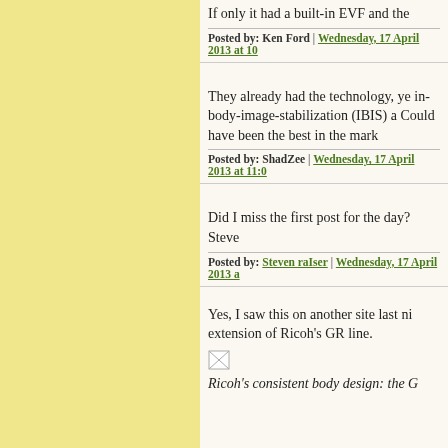If only it had a built-in EVF and the
Posted by: Ken Ford | Wednesday, 17 April 2013 at 10
They already had the technology, ye in-body-image-stabilization (IBIS) a Could have been the best in the mark
Posted by: ShadZee | Wednesday, 17 April 2013 at 11:0
Did I miss the first post for the day? Steve
Posted by: Steven raIser | Wednesday, 17 April 2013 a
Yes, I saw this on another site last ni extension of Ricoh's GR line.
[Figure (photo): Small image thumbnail/broken image icon]
Ricoh's consistent body design: the G